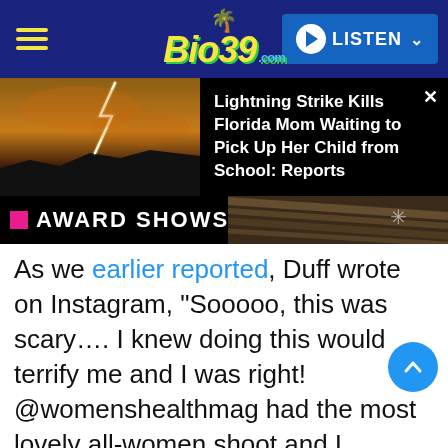[Figure (screenshot): Bio39.com website navigation bar with hamburger menu, yellow italic logo with palm tree, and blue LISTEN button]
[Figure (photo): News banner with lightning strike photo on left and headline 'Lightning Strike Kills Florida Mom Waiting to Pick Up Her Child from School: Reports' on right, with X close button]
[Figure (screenshot): Award Shows category banner in black with pink square icon and blurred background image]
As we earlier reported, Duff wrote on Instagram, “Sooooo, this was scary…. I knew doing this would terrify me and I was right! @womenshealthmag had the most lovely all-women shoot and I actually had the best time.”
She added, “I felt strong and beautiful and laughed a lot getting into some of these poses